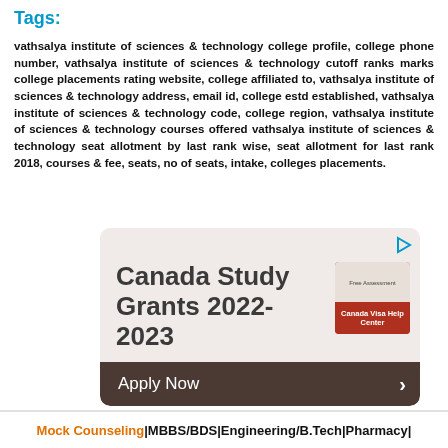Tags:
vathsalya institute of sciences & technology college profile, college phone number, vathsalya institute of sciences & technology cutoff ranks marks college placements rating website, college affiliated to, vathsalya institute of sciences & technology address, email id, college estd established, vathsalya institute of sciences & technology code, college region, vathsalya institute of sciences & technology courses offered vathsalya institute of sciences & technology seat allotment by last rank wise, seat allotment for last rank 2018, courses & fee, seats, no of seats, intake, colleges placements.
[Figure (infographic): Advertisement banner for Canada Study Grants 2022-2023 with an image of Canada Visa Help Center and an Apply Now button]
Mock Counseling | MBBS/BDS | Engineering/B.Tech | Pharmacy |